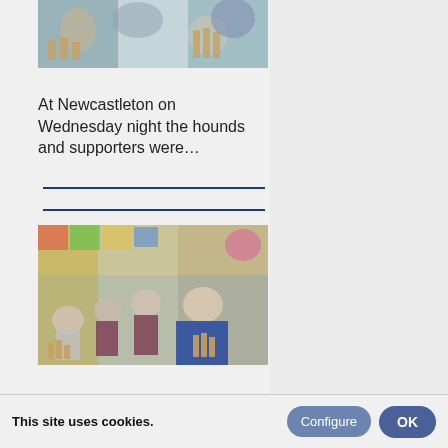[Figure (photo): Children sitting around a table working with wooden blocks and building materials in a classroom setting, viewed from above]
At Newcastleton on Wednesday night the hounds and supporters were...
[Figure (photo): An elderly man in a blue sweater sitting with primary school children who are working with wooden building materials at a colorful classroom table]
This site uses cookies.